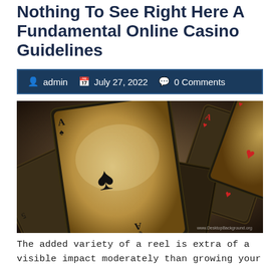Nothing To See Right Here A Fundamental Online Casino Guidelines
admin   July 27, 2022   0 Comments
[Figure (photo): A dramatic dark-toned photograph of multiple playing cards overlapping, featuring an Ace of Spades prominently in the center with a spade symbol, surrounded by other cards with hearts and clubs suits visible. Watermark: www.DesktopBackground.org]
The added variety of a reel is extra of a visible impact moderately than growing your possibilities of success. The successful mixture might be made from